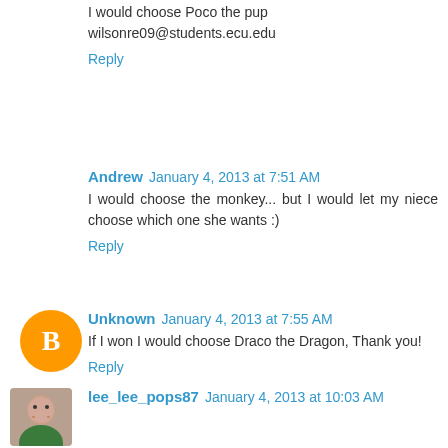I would choose Poco the pup wilsonre09@students.ecu.edu
Reply
Andrew  January 4, 2013 at 7:51 AM
I would choose the monkey... but I would let my niece choose which one she wants :)
Reply
Unknown  January 4, 2013 at 7:55 AM
If I won I would choose Draco the Dragon, Thank you!
Reply
lee_lee_pops87  January 4, 2013 at 10:03 AM
Either Kojo the Croc or Draco the Dragon thanks!
Reply